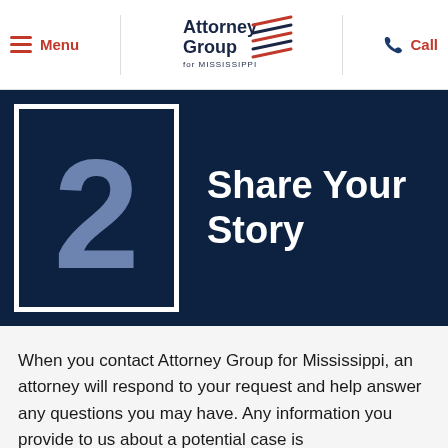Menu | Attorney Group for Mississippi | Call
[Figure (screenshot): Attorney Group for Mississippi logo with American flag graphic]
2 Share Your Story
When you contact Attorney Group for Mississippi, an attorney will respond to your request and help answer any questions you may have. Any information you provide to us about a potential case is